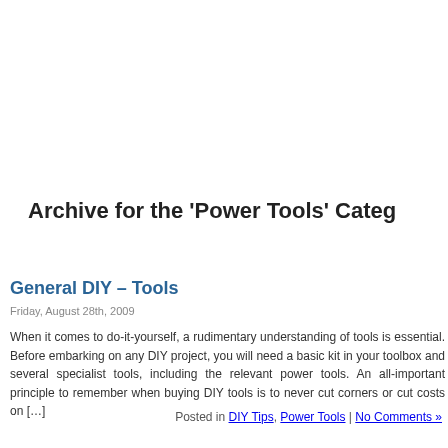Archive for the 'Power Tools' Categ
General DIY – Tools
Friday, August 28th, 2009
When it comes to do-it-yourself, a rudimentary understanding of tools is essential. Before embarking on any DIY project, you will need a basic kit in your toolbox and several specialist tools, including the relevant power tools. An all-important principle to remember when buying DIY tools is to never cut corners or cut costs on […]
Posted in DIY Tips, Power Tools | No Comments »